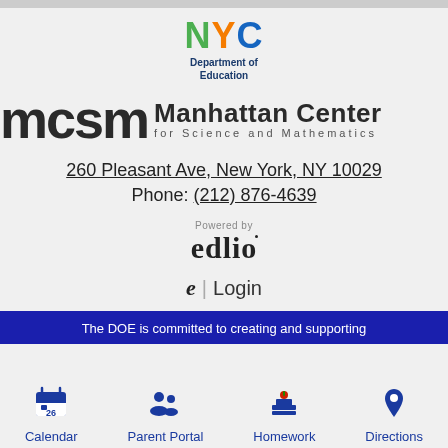[Figure (logo): NYC Department of Education logo with green N, orange Y, blue C letters and 'Department of Education' text in dark blue]
[Figure (logo): MCSM Manhattan Center for Science and Mathematics logo with bold dark letters]
260 Pleasant Ave, New York, NY 10029
Phone: (212) 876-4639
[Figure (logo): Powered by edlio logo]
e | Login
The DOE is committed to creating and supporting
[Figure (infographic): Bottom navigation bar with Calendar, Parent Portal, Homework, Directions icons]